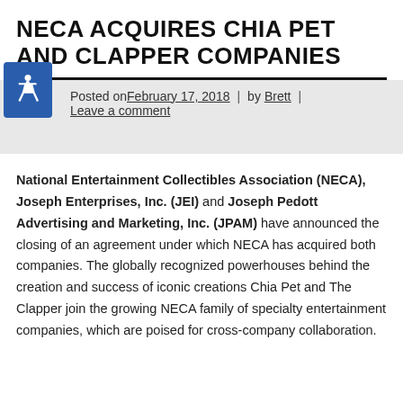NECA ACQUIRES CHIA PET AND CLAPPER COMPANIES
Posted on February 17, 2018 | by Brett | Leave a comment
National Entertainment Collectibles Association (NECA), Joseph Enterprises, Inc. (JEI) and Joseph Pedott Advertising and Marketing, Inc. (JPAM) have announced the closing of an agreement under which NECA has acquired both companies. The globally recognized powerhouses behind the creation and success of iconic creations Chia Pet and The Clapper join the growing NECA family of specialty entertainment companies, which are poised for cross-company collaboration.